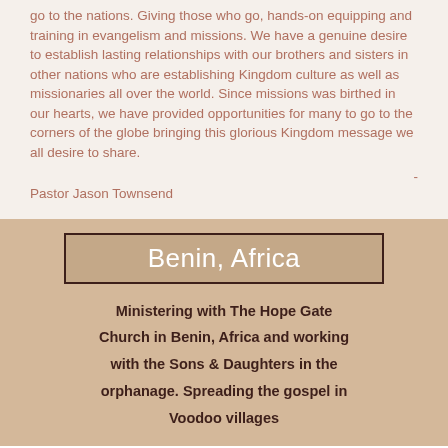go to the nations. Giving those who go, hands-on equipping and training in evangelism and missions. We have a genuine desire to establish lasting relationships with our brothers and sisters in other nations who are establishing Kingdom culture as well as missionaries all over the world. Since missions was birthed in our hearts, we have provided opportunities for many to go to the corners of the globe bringing this glorious Kingdom message we all desire to share.
- Pastor Jason Townsend
Benin, Africa
Ministering with The Hope Gate Church in Benin, Africa and working with the Sons & Daughters in the orphanage. Spreading the gospel in Voodoo villages